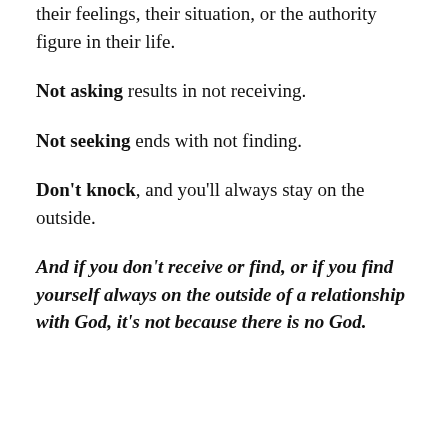their feelings, their situation, or the authority figure in their life.
Not asking results in not receiving.
Not seeking ends with not finding.
Don't knock, and you'll always stay on the outside.
And if you don't receive or find, or if you find yourself always on the outside of a relationship with God, it's not because there is no God.